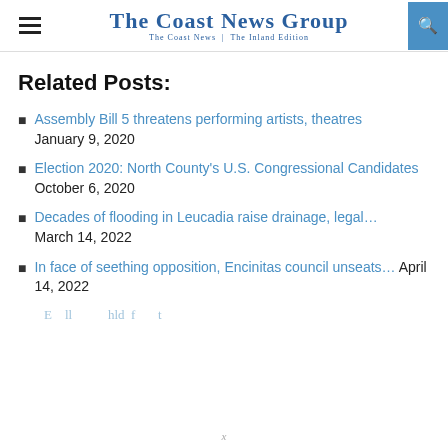The Coast News Group — The Coast News | The Inland Edition
Related Posts:
Assembly Bill 5 threatens performing artists, theatres January 9, 2020
Election 2020: North County's U.S. Congressional Candidates October 6, 2020
Decades of flooding in Leucadia raise drainage, legal… March 14, 2022
In face of seething opposition, Encinitas council unseats… April 14, 2022